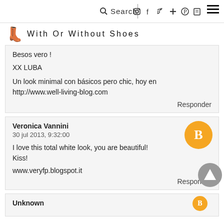Search | With Or Without Shoes
Besos vero !

XX LUBA

Un look minimal con básicos pero chic, hoy en http://www.well-living-blog.com

Responder
Veronica Vannini
30 jul 2013, 9:32:00

I love this total white look, you are beautiful! Kiss!

www.veryfp.blogspot.it

Responder
Unknown